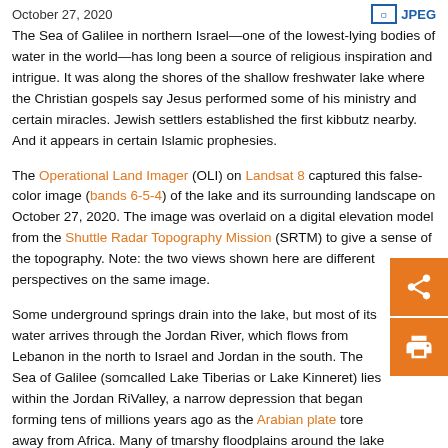October 27, 2020    JPEG
The Sea of Galilee in northern Israel—one of the lowest-lying bodies of water in the world—has long been a source of religious inspiration and intrigue. It was along the shores of the shallow freshwater lake where the Christian gospels say Jesus performed some of his ministry and certain miracles. Jewish settlers established the first kibbutz nearby. And it appears in certain Islamic prophesies.
The Operational Land Imager (OLI) on Landsat 8 captured this false-color image (bands 6-5-4) of the lake and its surrounding landscape on October 27, 2020. The image was overlaid on a digital elevation model from the Shuttle Radar Topography Mission (SRTM) to give a sense of the topography. Note: the two views shown here are different perspectives on the same image.
Some underground springs drain into the lake, but most of its water arrives through the Jordan River, which flows from Lebanon in the north to Israel and Jordan in the south. The Sea of Galilee (sometimes called Lake Tiberias or Lake Kinneret) lies within the Jordan Rift Valley, a narrow depression that began forming tens of millions of years ago as the Arabian plate tore away from Africa. Many of the marshy floodplains around the lake and to the south have been converted into farmland, which appears bright green.